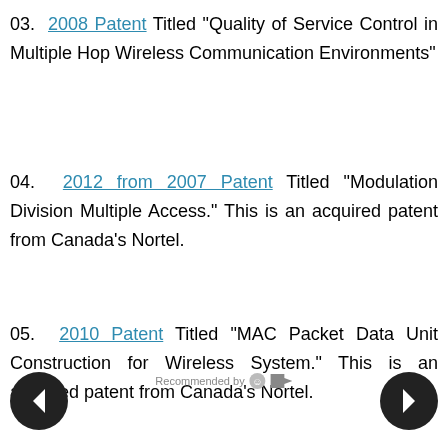03. 2008 Patent Titled "Quality of Service Control in Multiple Hop Wireless Communication Environments"
04. 2012 from 2007 Patent Titled "Modulation Division Multiple Access." This is an acquired patent from Canada's Nortel.
05. 2010 Patent Titled "MAC Packet Data Unit Construction for Wireless System." This is an acquired patent from Canada's Nortel.